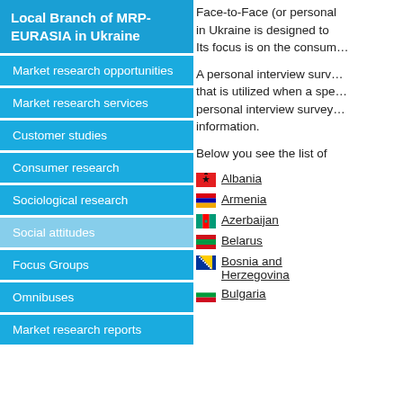Local Branch of MRP-EURASIA in Ukraine
Market research opportunities
Market research services
Customer studies
Consumer research
Sociological research
Social attitudes
Focus Groups
Omnibuses
Market research reports
Face-to-Face (or personal interview) survey in Ukraine is designed to … Its focus is on the consum…
A personal interview survey is a type of survey that is utilized when a specific … personal interview survey … information.
Below you see the list of …
Albania
Armenia
Azerbaijan
Belarus
Bosnia and Herzegovina
Bulgaria